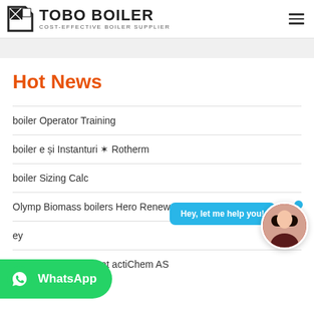[Figure (logo): TOBO BOILER logo with black geometric icon and text 'TOBO BOILER / COST-EFFECTIVE BOILER SUPPLIER']
Hot News
boiler Operator Training
boiler e și Instanturi ✶ Rotherm
boiler Sizing Calc
Olymp Biomass boilers Hero Renewables
ey
boiler Water treatment actiChem AS
[Figure (illustration): Chat bubble overlay saying 'Hey, let me help you!' with female avatar]
[Figure (logo): WhatsApp green button with WhatsApp logo icon and 'WhatsApp' text]